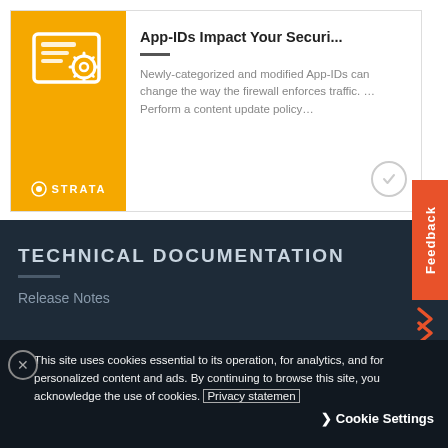[Figure (screenshot): Card with yellow left panel showing Strata logo and document/settings icon, right panel with title 'App-IDs Impact Your Securi...' and descriptive text about newly-categorized App-IDs]
App-IDs Impact Your Securi...
Newly-categorized and modified App-IDs can change the way the firewall enforces traffic. … Perform a content update policy…
TECHNICAL DOCUMENTATION
Release Notes
This site uses cookies essential to its operation, for analytics, and for personalized content and ads. By continuing to browse this site, you acknowledge the use of cookies. Privacy statemen
Cookie Settings